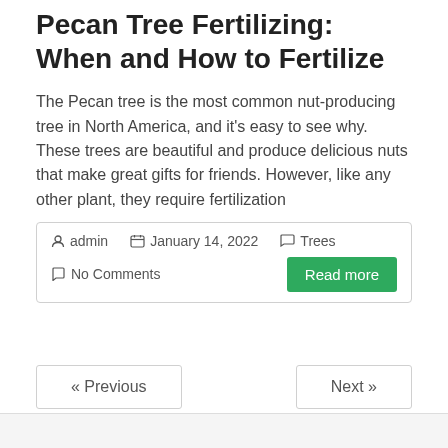Pecan Tree Fertilizing: When and How to Fertilize
The Pecan tree is the most common nut-producing tree in North America, and it's easy to see why. These trees are beautiful and produce delicious nuts that make great gifts for friends. However, like any other plant, they require fertilization
admin  January 14, 2022  Trees  No Comments  Read more